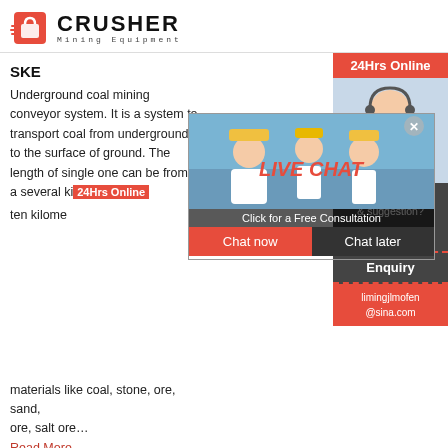CRUSHER Mining Equipment
SKE
Underground coal mining conveyor system. It is a system to transport coal from underground to the surface of ground. The length of single one can be from a several kilometers to ten kilometers. It allows one to the transportation of materials like coal, stone, ore, sand, salt ore, salt ore...
Read More
[Figure (photo): Live Chat popup overlay with construction workers in hard hats, LIVE CHAT text, 'Click for a Free Consultation', Chat now and Chat later buttons]
[Figure (photo): 24Hrs Online banner with customer service agent wearing headset]
[Figure (photo): Mining site with conveyor belt equipment on hillside]
Processing – Iron Ore
Transport material on inclines of up to 40 degrees. Equipment. Systems. Fully integrated, high capacity
Need questions & suggestion? Chat Now
Enquiry
limingjlmofen@sina.com